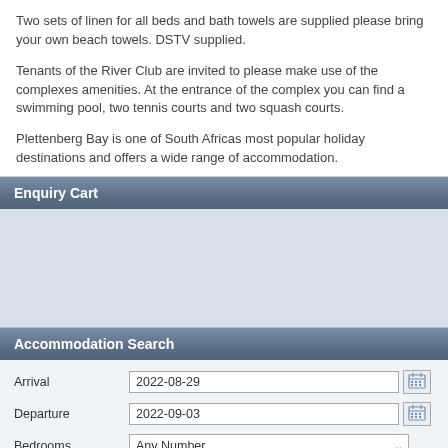Two sets of linen for all beds and bath towels are supplied please bring your own beach towels. DSTV supplied.
Tenants of the River Club are invited to please make use of the complexes amenities. At the entrance of the complex you can find a swimming pool, two tennis courts and two squash courts.
Plettenberg Bay is one of South Africas most popular holiday destinations and offers a wide range of accommodation.
Enquiry Cart
Accommodation Search
| Label | Value |
| --- | --- |
| Arrival | 2022-08-29 |
| Departure | 2022-09-03 |
| Bedrooms | Any Number |